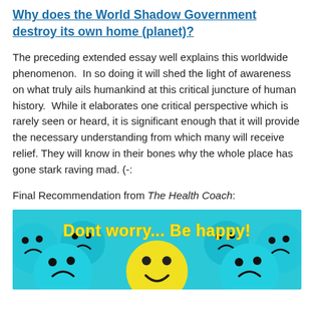Why does the World Shadow Government destroy its own home (planet)?
The preceding extended essay well explains this worldwide phenomenon.  In so doing it will shed the light of awareness on what truly ails humankind at this critical juncture of human history.  While it elaborates one critical perspective which is rarely seen or heard, it is significant enough that it will provide the necessary understanding from which many will receive relief. They will know in their bones why the whole place has gone stark raving mad. (-:
Final Recommendation from The Health Coach:
[Figure (illustration): Image of blue sad smiley face balls with one yellow happy smiley face, with yellow text overlay reading 'Dont worry... Be happy!']